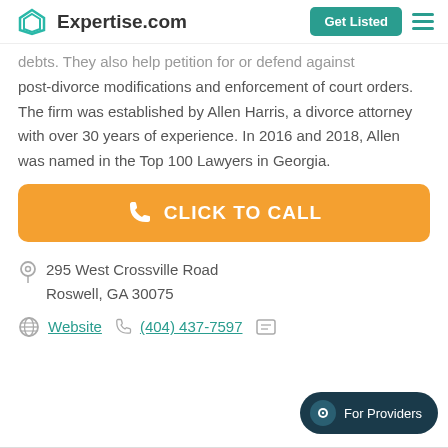Expertise.com | Get Listed
debts. They also help petition for or defend against post-divorce modifications and enforcement of court orders. The firm was established by Allen Harris, a divorce attorney with over 30 years of experience. In 2016 and 2018, Allen was named in the Top 100 Lawyers in Georgia.
CLICK TO CALL
295 West Crossville Road
Roswell, GA 30075
Website  (404) 437-7597